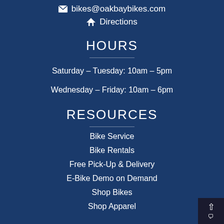bikes@oakbaybikes.com
Directions
HOURS
Saturday – Tuesday: 10am – 5pm
Wednesday – Friday: 10am – 6pm
RESOURCES
Bike Service
Bike Rentals
Free Pick-Up & Delivery
E-Bike Demo on Demand
Shop Bikes
Shop Apparel